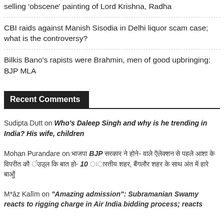selling 'obscene' painting of Lord Krishna, Radha
CBI raids against Manish Sisodia in Delhi liquor scam case; what is the controversy?
Bilkis Bano's rapists were Brahmin, men of good upbringing: BJP MLA
Recent Comments
Sudipta Dutt on Who's Daleep Singh and why is he trending in India? His wife, children
Mohan Purandare on [Hindi text] BJP [Hindi text] 10 [Hindi text]
M*āz Kalīm on "Amazing admission": Subramanian Swamy reacts to rigging charge in Air India bidding process; reacts